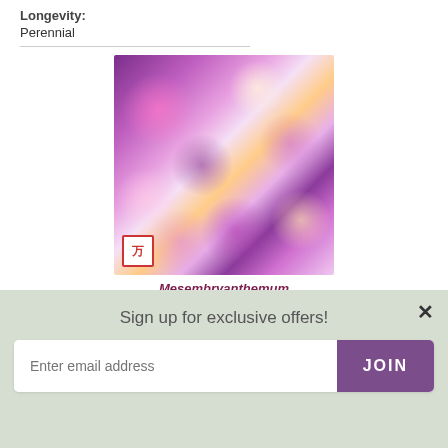Perennial
[Figure (photo): Photo of Mesembryanthemum criniflorum Magic Carpet flowers — dense cluster of daisy-like flowers in purple, pink, white, and yellow with dark centers]
Mesembryanthemum criniflorum 'Magic Carpet
Sign up for exclusive offers!
Enter email address
JOIN